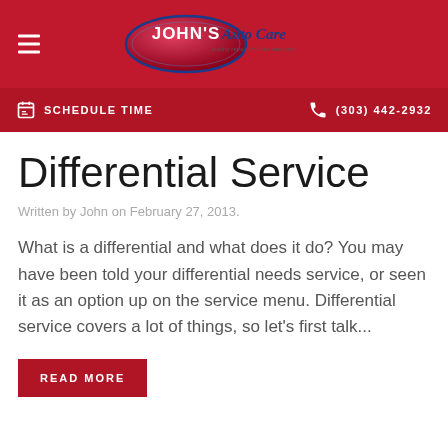John's Auto Care — SCHEDULE TIME | (303) 442-2932
Differential Service
Written by John on February 27, 2013.
What is a differential and what does it do? You may have been told your differential needs service, or seen it as an option up on the service menu. Differential service covers a lot of things, so let's first talk...
READ MORE